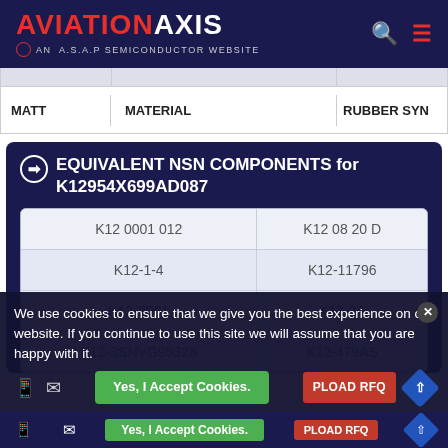AVIATION AXIS — AN A.S.A.P SEMICONDUCTOR WEBSITE
| MATT | MATERIAL | RUBBER SYN |
| --- | --- | --- |
EQUIVALENT NSN COMPONENTS for K12954X699AD087
| Column 1 | Column 2 |
| --- | --- |
| K12 0001 012 | K12 08 20 D |
| K12-1-4 | K12-11796 |
| K12-2001 | K12-3A |
| K12-3SNVG95328 | K12-479AS |
We use cookies to ensure that we give you the best experience on our website. If you continue to use this site we will assume that you are happy with it.
Yes, I Accept Cookies. | UPLOAD RFQ